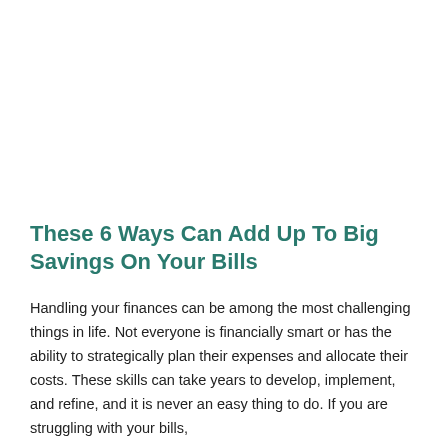These 6 Ways Can Add Up To Big Savings On Your Bills
Handling your finances can be among the most challenging things in life. Not everyone is financially smart or has the ability to strategically plan their expenses and allocate their costs. These skills can take years to develop, implement, and refine, and it is never an easy thing to do. If you are struggling with your bills, and want to read the rest of this article for 6 ways that...